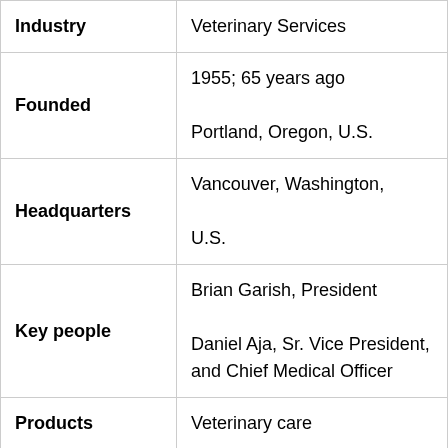| Industry | Veterinary Services |
| Founded | 1955; 65 years ago
Portland, Oregon, U.S. |
| Headquarters | Vancouver, Washington, U.S. |
| Key people | Brian Garish, President
Daniel Aja, Sr. Vice President, and Chief Medical Officer |
| Products | Veterinary care |
| Revenue | US$774.4 million |